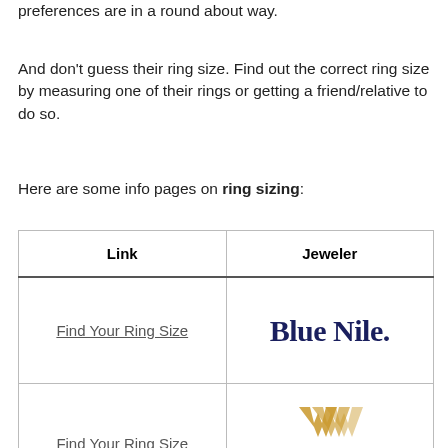preferences are in a round about way.
And don't guess their ring size. Find out the correct ring size by measuring one of their rings or getting a friend/relative to do so.
Here are some info pages on ring sizing:
| Link | Jeweler |
| --- | --- |
| Find Your Ring Size | Blue Nile. |
| Find Your Ring Size | WHITEFLASH Ideal Diamonds & Fine Jewelry |